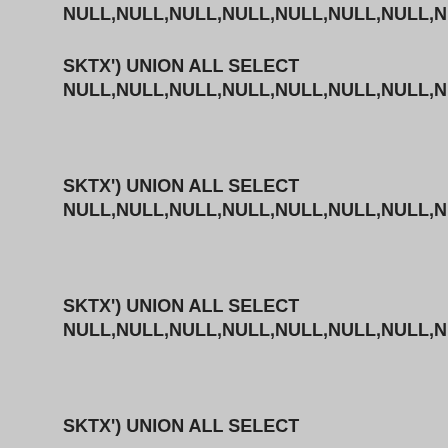NULL,NULL,NULL,NULL,NULL,NULL,NULL,NULL,NULL,NULL,NUL
SKTX') UNION ALL SELECT
NULL,NULL,NULL,NULL,NULL,NULL,NULL,NULL,NULL,NULL,NUL
SKTX') UNION ALL SELECT
NULL,NULL,NULL,NULL,NULL,NULL,NULL,NULL,NULL,NULL,NUL
SKTX') UNION ALL SELECT
NULL,NULL,NULL,NULL,NULL,NULL,NULL,NULL,NULL,NULL,NUL
SKTX') UNION ALL SELECT
NULL,NULL,NULL,NULL,NULL,NULL,NULL,NULL,NULL,NULL,NUL
SKTX') UNION ALL SELECT
NULL,NULL,NULL,NULL,NULL,NULL,NULL,NULL,NULL,NULL,NUL
SKTX') UNION ALL SELECT
NULL,NULL,NULL,NULL,NULL,NULL,NULL,NULL,NULL,NULL,NUL
SKTX') UNION ALL SELECT
NULL,NULL,NULL,NULL,NULL,NULL,NULL,NULL,NULL,NULL,NUL
SKTX') UNION ALL SELECT
NULL,NULL,NULL,NULL,NULL,NULL,NULL,NULL,NULL,NULL,NUL
SKTX') UNION ALL SELECT